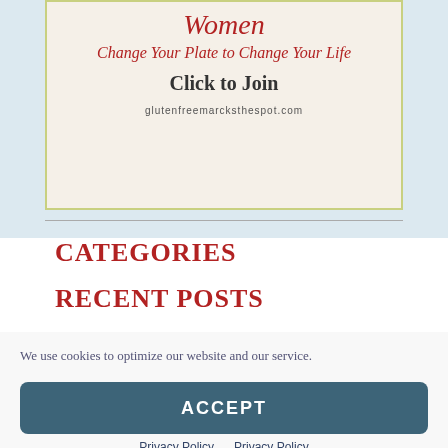[Figure (illustration): Advertisement banner for a gluten-free women's program. Shows cursive red text 'Women', italic red text 'Change Your Plate to Change Your Life', bold black text 'Click to Join', and URL glutenfreemarcksthespot.com at the bottom.]
CATEGORIES
RECENT POSTS
We use cookies to optimize our website and our service.
ACCEPT
Privacy Policy   Privacy Policy